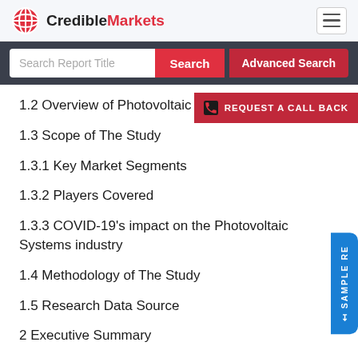CredibleMarkets
1.2 Overview of Photovoltaic Systems
1.3 Scope of The Study
1.3.1 Key Market Segments
1.3.2 Players Covered
1.3.3 COVID-19's impact on the Photovoltaic Systems industry
1.4 Methodology of The Study
1.5 Research Data Source
2 Executive Summary